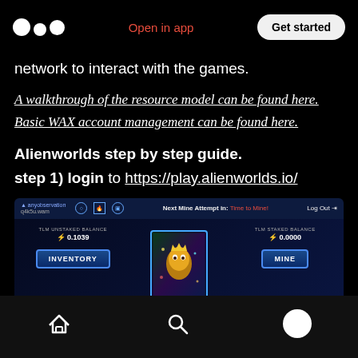Medium logo | Open in app | Get started
network to interact with the games.
A walkthrough of the resource model can be found here.
Basic WAX account management can be found here.
Alienworlds step by step guide.
step 1) login to https://play.alienworlds.io/
[Figure (screenshot): Screenshot of the Alienworlds game interface showing account 'anyobservation q4k5u.wam', TLM UNSTAKED BALANCE 0.1039, TLM STAKED BALANCE 0.0000, INVENTORY and MINE buttons, and MANAGE LAND label at the bottom. Top bar shows 'Next Mine Attempt in: Time to Mine!' and 'Log Out'.]